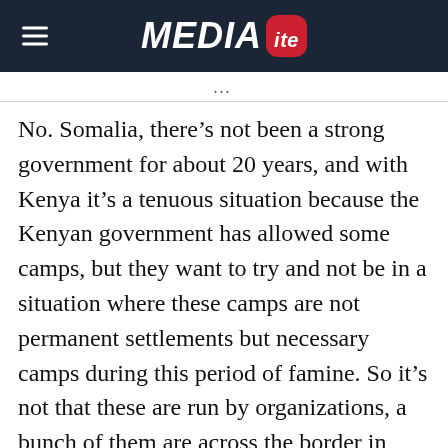MEDIAITE
No. Somalia, there’s not been a strong government for about 20 years, and with Kenya it’s a tenuous situation because the Kenyan government has allowed some camps, but they want to try and not be in a situation where these camps are not permanent settlements but necessary camps during this period of famine. So it’s not that these are run by organizations, a bunch of them are across the border in Kenya, although I think now in Somalia there may be more as the ban has been, again, presumably lifted, so they may be more comfortable going in. But you know, aid workers have been killed in this part of the world, so they have to be very careful